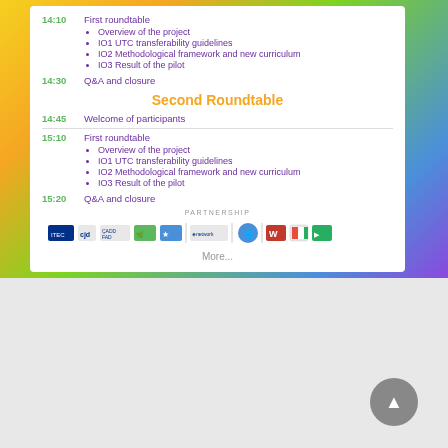14:10 First roundtable
• Overview of the project
• IO1 UTC transferability guidelines
• IO2 Methodological framework and new curriculum
• IO3 Result of the pilot
14:30 Q&A and closure
Second Roundtable
14:45 Welcome of participants
15:10 First roundtable
• Overview of the project
• IO1 UTC transferability guidelines
• IO2 Methodological framework and new curriculum
• IO3 Result of the pilot
15:20 Q&A and closure
PARTNERSHIP
[Figure (logo): Row of partnership logos including ITEC, cjd, ÇADD-PAD, and other organization logos]
More...